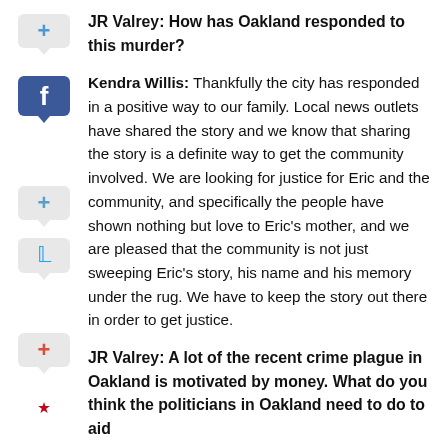JR Valrey: How has Oakland responded to this murder?
Kendra Willis: Thankfully the city has responded in a positive way to our family. Local news outlets have shared the story and we know that sharing the story is a definite way to get the community involved. We are looking for justice for Eric and the community, and specifically the people have shown nothing but love to Eric's mother, and we are pleased that the community is not just sweeping Eric's story, his name and his memory under the rug. We have to keep the story out there in order to get justice.
JR Valrey: A lot of the recent crime plague in Oakland is motivated by money. What do you think the politicians in Oakland need to do to aid